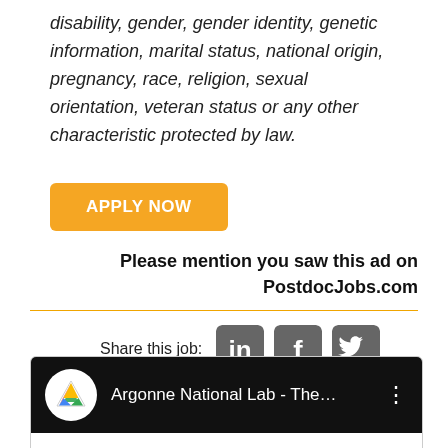disability, gender, gender identity, genetic information, marital status, national origin, pregnancy, race, religion, sexual orientation, veteran status or any other characteristic protected by law.
APPLY NOW
Please mention you saw this ad on PostdocJobs.com
[Figure (infographic): Share this job row with LinkedIn, Facebook, and Twitter social media icons]
[Figure (screenshot): Video thumbnail showing Argonne National Lab - The... with Google Drive logo icon on black background]